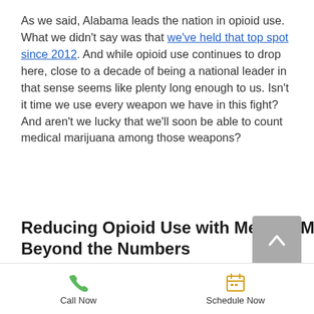As we said, Alabama leads the nation in opioid use. What we didn't say was that we've held that top spot since 2012. And while opioid use continues to drop here, close to a decade of being a national leader in that sense seems like plenty long enough to us. Isn't it time we use every weapon we have in this fight? And aren't we lucky that we'll soon be able to count medical marijuana among those weapons?
Reducing Opioid Use with Medical Marijuana: Beyond the Numbers
Call Now | Schedule Now